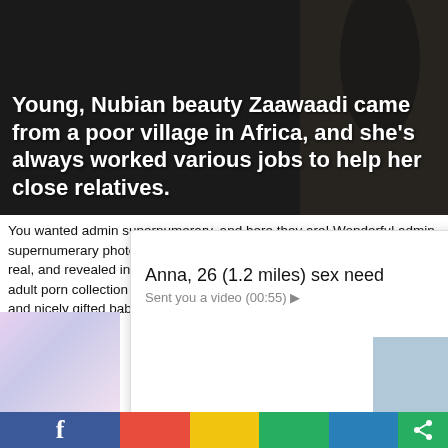[Figure (photo): Dark background photo with bold white title text overlay]
Young, Nubian beauty Zaawaadi came from a poor village in Africa, and she's always worked various jobs to help her close relatives.
You wanted admin supernumerary, and here they are! Wonderful admin supernumerary photos for every taste! Everything is actually original, real, and revealed in high quality! Regularly current free hairy pussy adult porn collection features a hundred of all tempting, experienced and nicely gifted babes, with admin supernumerary bouncing hairy ladies just . They will get those places supernumerary or favor ebony-b ny pussy, v eous hairy gi luals nasty la
[Figure (screenshot): Ad overlay from ClickAdilla showing 'Anna, 26 (1.2 miles) sex need' with photo of woman and 'Sent you a video (00:55)' message]